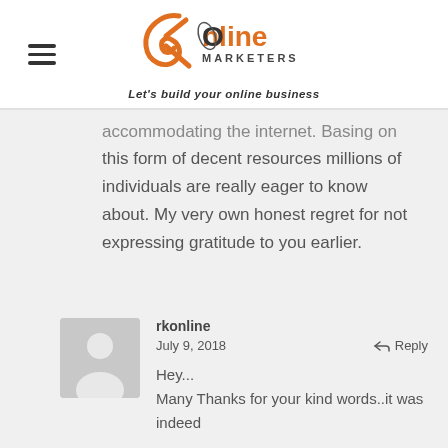[Figure (logo): RK Online Marketers logo with tagline 'Let's build your online business']
...accommodating the internet. Basing on this form of decent resources millions of individuals are really eager to know about. My very own honest regret for not expressing gratitude to you earlier.
rkonline
July 9, 2018
Hey...
Many Thanks for your kind words..it was indeed